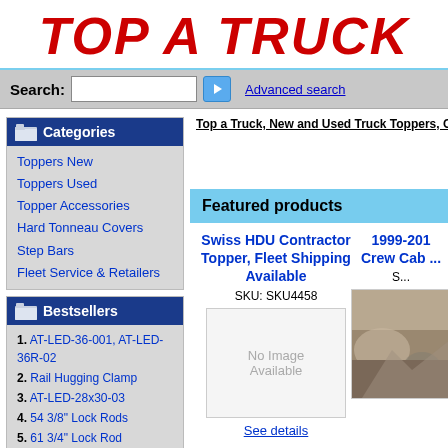TOP A TRUCK
Search: [input] > Advanced search
Categories
Toppers New
Toppers Used
Topper Accessories
Hard Tonneau Covers
Step Bars
Fleet Service & Retailers
Bestsellers
1. AT-LED-36-001, AT-LED-36R-02
2. Rail Hugging Clamp
3. AT-LED-28x30-03
4. 54 3/8" Lock Rods
5. 61 3/4" Lock Rod
Special
Manufacturers
Top a Truck, New and Used Truck Toppers, Caps, Lids , T
Featured products
Swiss HDU Contractor Topper, Fleet Shipping Available
SKU: SKU4458
[Figure (other): No Image Available placeholder box]
See details
1999-201
Crew Cab ...
[Figure (photo): Partial photo of truck topper product]